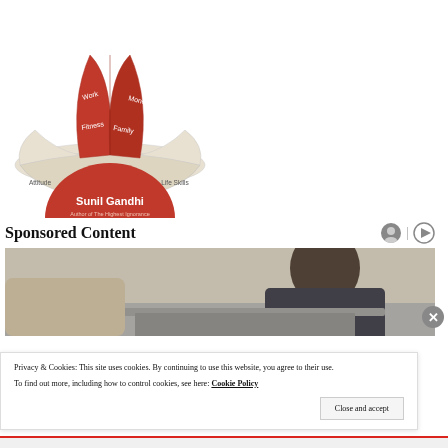[Figure (illustration): Paper origami boat with labels: Work, Money, Fitness, Family, Attitude, Life Skills, Wisdom, Spirituality. Below the boat is a red semicircle with text 'Sunil Gandhi, Author of The Highest Ignorance']
Sponsored Content
[Figure (photo): Woman working at a laptop, dark hair, wearing dark jacket, viewed from side/behind]
Privacy & Cookies: This site uses cookies. By continuing to use this website, you agree to their use.
To find out more, including how to control cookies, see here: Cookie Policy
Close and accept